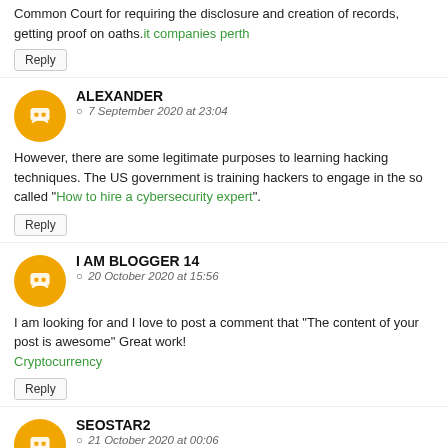Common Court for requiring the disclosure and creation of records, getting proof on oaths.it companies perth
Reply
ALEXANDER
7 September 2020 at 23:04
However, there are some legitimate purposes to learning hacking techniques. The US government is training hackers to engage in the so called "How to hire a cybersecurity expert".
Reply
I AM BLOGGER 14
20 October 2020 at 15:56
I am looking for and I love to post a comment that "The content of your post is awesome" Great work! Cryptocurrency
Reply
SEOSTAR2
21 October 2020 at 00:06